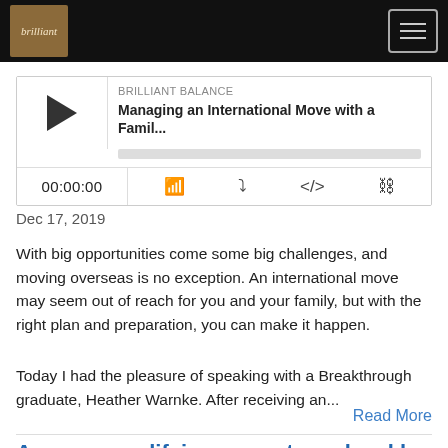Brilliant Balance — navigation header
[Figure (screenshot): Podcast player widget showing play button, episode title 'Managing an International Move with a Famil...', progress bar, time display 00:00:00, and control icons (cast, download, embed, share)]
Dec 17, 2019
With big opportunities come some big challenges, and moving overseas is no exception. An international move may seem out of reach for you and your family, but with the right plan and preparation, you can make it happen.
Today I had the pleasure of speaking with a Breakthrough graduate, Heather Warnke. After receiving an...
Read More
Are you amplifying your stress level by